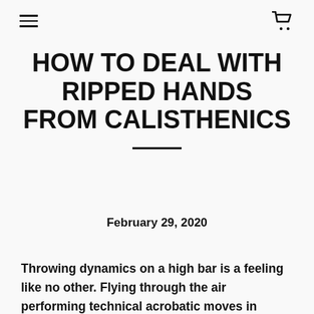≡  🛒
HOW TO DEAL WITH RIPPED HANDS FROM CALISTHENICS
February 29, 2020
Throwing dynamics on a high bar is a feeling like no other. Flying through the air performing technical acrobatic moves in sequence, and practicing these combos for hours. It